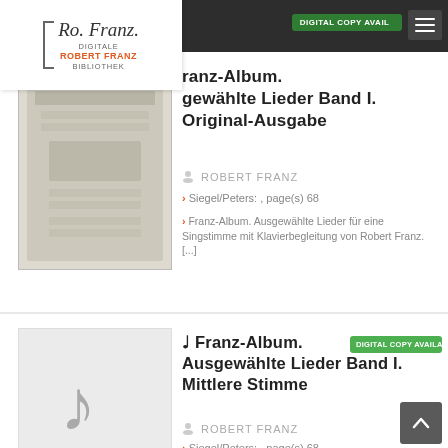DIGITAL COPY AVAILABLE (header badge)
[Figure (logo): Robert Franz Digitale Bibliothek logo with script text and bracket]
Franz-Album. Ausgewählte Lieder Band I. Original-Ausgabe
ROBERT FRANZ
Siegel/Peters: , page(s) 68
Franz-Album. Ausgewählte Lieder für eine Singstimme mit Klavierbegleitung von Robert Franz. [...]
♫ Franz-Album. Ausgewählte Lieder Band I. Mittlere Stimme
DIGITAL COPY AVAILABLE
ROBERT FRANZ
Siegel/Peters: , page(s) 68
Key: f-Moll
Franz-Album. Ausgewählte Lieder für eine Singstimme mit Klavierbegleitung von Robert Franz.